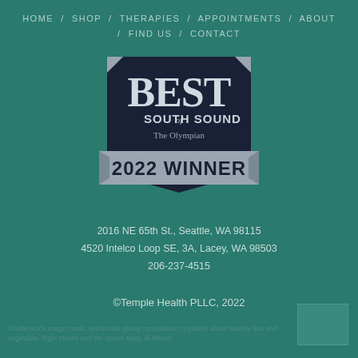HOME / SHOP / THERAPIES / APPOINTMENTS / ABOUT / FIND US / CONTACT
[Figure (logo): Best of South Sound - The Olympian - 2022 Winner badge/award logo with dark navy background and silver banner]
2016 NE 65th St., Seattle, WA 98115
4520 Intelco Loop SE, 3A, Lacey, WA 98503
206-237-4515
©Temple Health PLLC, 2022
Shutterstock image credit: Nutritionist giving consultation to patient about healthy fruit and vegetable. Right choice and the queue away all illness.